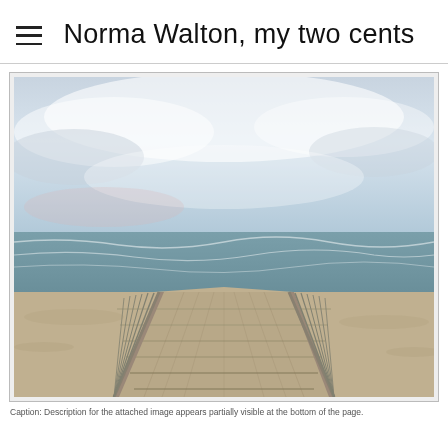Norma Walton, my two cents
[Figure (photo): A wooden boardwalk leading toward a choppy ocean with a cloudy sky above, viewed from a perspective looking straight down the center of the boardwalk toward the water.]
Caption: Description for the attached image appears partially visible at the bottom of the page.